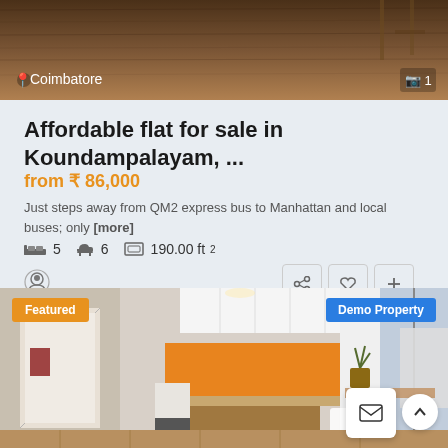[Figure (photo): Interior photo showing wooden floor and partial view of furniture from above, with location label Coimbatore and photo count 1]
Affordable flat for sale in Koundampalayam, ...
from ₹ 86,000
Just steps away from QM2 express bus to Manhattan and local buses; only [more]
5 bedrooms, 6 bathrooms, 190.00 ft²
[Figure (photo): Kitchen interior photo with orange backsplash, white cabinets, wooden island, Featured badge and Demo Property badge overlaid]